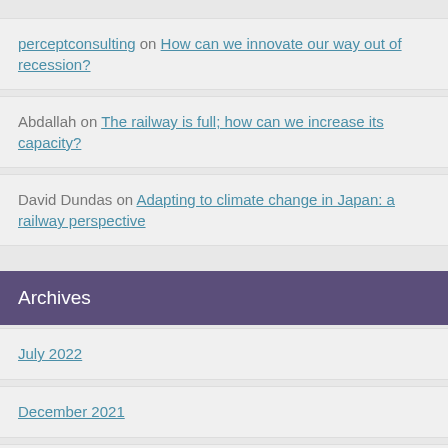perceptconsulting on How can we innovate our way out of recession?
Abdallah on The railway is full; how can we increase its capacity?
David Dundas on Adapting to climate change in Japan: a railway perspective
Archives
July 2022
December 2021
May 2021